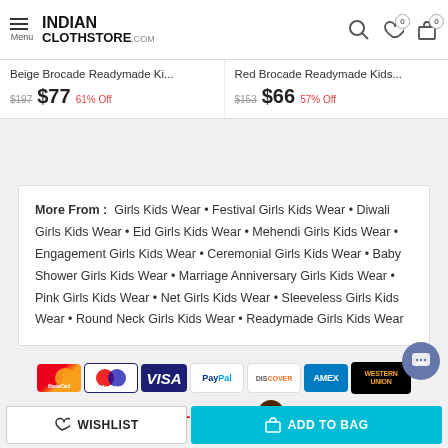INDIAN CLOTHSTORE.COM
Beige Brocade Readymade Ki... $197 $77 61% Off
Red Brocade Readymade Kids... $153 $66 57% Off
More From: Girls Kids Wear • Festival Girls Kids Wear • Diwali Girls Kids Wear • Eid Girls Kids Wear • Mehendi Girls Kids Wear • Engagement Girls Kids Wear • Ceremonial Girls Kids Wear • Baby Shower Girls Kids Wear • Marriage Anniversary Girls Kids Wear • Pink Girls Kids Wear • Net Girls Kids Wear • Sleeveless Girls Kids Wear • Round Neck Girls Kids Wear • Readymade Girls Kids Wear
[Figure (logo): Payment logos: MasterCard, Maestro, VISA, PayPal, DISCOVER, AMEX, Western Union, DHL, FedEx, UPS]